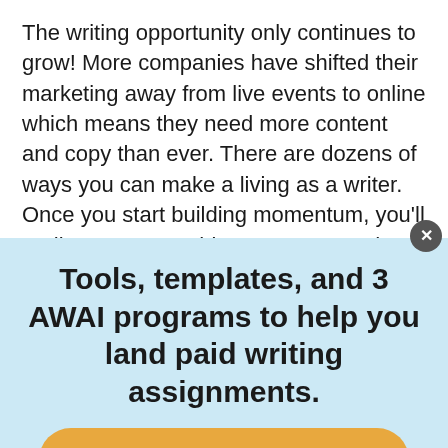The writing opportunity only continues to grow! More companies have shifted their marketing away from live events to online which means they need more content and copy than ever. There are dozens of ways you can make a living as a writer. Once you start building momentum, you’ll realize you can achieve success and prosperity along the path of your choice.
For three ways to make your first $1,000 as a freelance writer, check out this free Inside AWAI webinar. Rebecca Matter and Pam Foster walk you through jus…
Tools, templates, and 3 AWAI programs to help you land paid writing assignments.
Hurry — ends today!